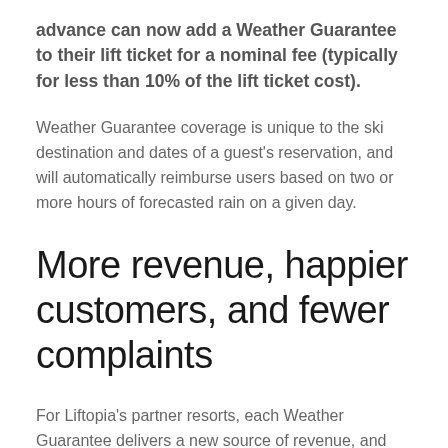advance can now add a Weather Guarantee to their lift ticket for a nominal fee (typically for less than 10% of the lift ticket cost).
Weather Guarantee coverage is unique to the ski destination and dates of a guest's reservation, and will automatically reimburse users based on two or more hours of forecasted rain on a given day.
More revenue, happier customers, and fewer complaints
For Liftopia's partner resorts, each Weather Guarantee delivers a new source of revenue, and